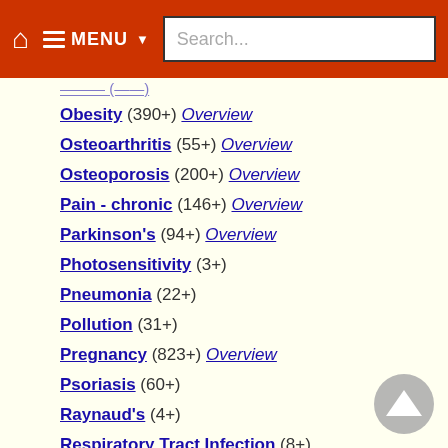MENU Search...
Obesity (390+) Overview
Osteoarthritis (55+) Overview
Osteoporosis (200+) Overview
Pain - chronic (146+) Overview
Parkinson's (94+) Overview
Photosensitivity (3+)
Pneumonia (22+)
Pollution (31+)
Pregnancy (823+) Overview
Psoriasis (60+)
Raynaud's (4+)
Respiratory Tract Infection (8+)